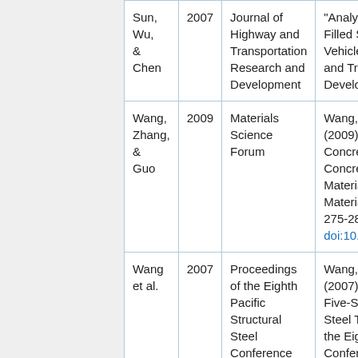| Author | Year | Journal/Source | Citation |
| --- | --- | --- | --- |
| Sun, Wu, & Chen | 2007 | Journal of Highway and Transportation Research and Development | "Analys... Filled S... Vehicle... and Tra... Develo... |
| Wang, Zhang, & Guo | 2009 | Materials Science Forum | Wang, ... (2009)... Concre... Concre... Materia... Materia... 275-28... doi:10.... |
| Wang et al. | 2007 | Proceedings of the Eighth Pacific Structural Steel Conference | Wang, ... (2007)... Five-Sp... Steel T... the Eig... Confere... |